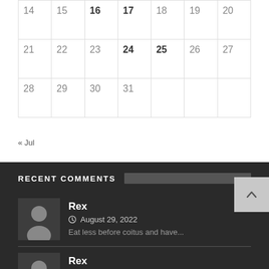| 14 | 15 | 16 | 17 | 18 | 19 | 20 |
| 21 | 22 | 23 | 24 | 25 | 26 | 27 |
| 28 | 29 | 30 | 31 |  |  |  |
« Jul
RECENT COMMENTS
Rex | August 29, 2022 | Eat less before coitus and have...
Rex | August 29, 2022 | No vex oh. … My village...